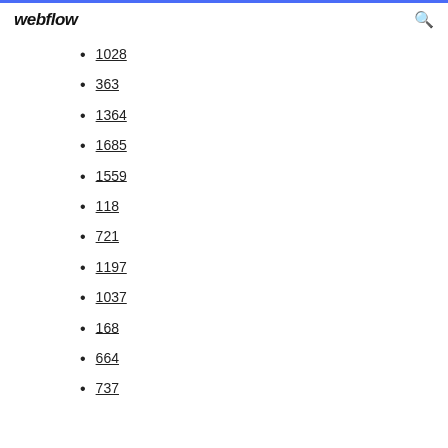webflow
1028
363
1364
1685
1559
118
721
1197
1037
168
664
737